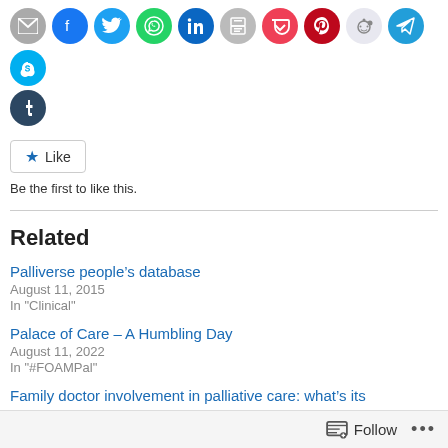[Figure (other): Row of social sharing icon circles: email, Facebook, Twitter, WhatsApp, LinkedIn, print, Pocket, Pinterest, Reddit, Telegram, Skype, Tumblr]
[Figure (other): Like button with star icon and label 'Like']
Be the first to like this.
Related
Palliverse people's database
August 11, 2015
In "Clinical"
Palace of Care – A Humbling Day
August 11, 2022
In "#FOAMPal"
Family doctor involvement in palliative care: what's its
Follow ...